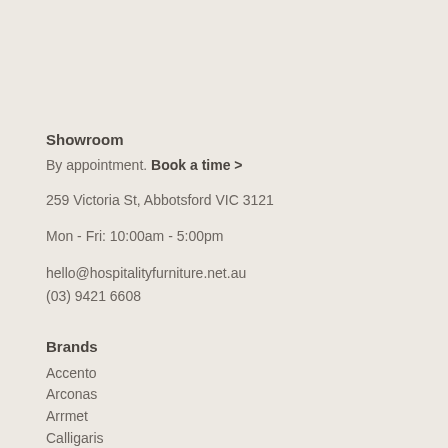Showroom
By appointment. Book a time >
259 Victoria St, Abbotsford VIC 3121
Mon - Fri: 10:00am - 5:00pm
hello@hospitalityfurniture.net.au
(03) 9421 6608
Brands
Accento
Arconas
Arrmet
Calligaris
Capdell
Colos